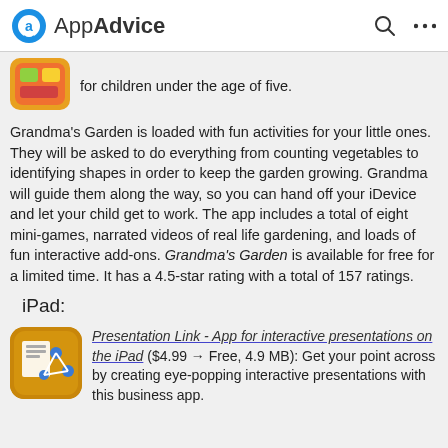AppAdvice
[Figure (screenshot): Partial app thumbnail showing colorful children's app icon]
for children under the age of five.
Grandma's Garden is loaded with fun activities for your little ones. They will be asked to do everything from counting vegetables to identifying shapes in order to keep the garden growing. Grandma will guide them along the way, so you can hand off your iDevice and let your child get to work. The app includes a total of eight mini-games, narrated videos of real life gardening, and loads of fun interactive add-ons. Grandma's Garden is available for free for a limited time. It has a 4.5-star rating with a total of 157 ratings.
iPad:
[Figure (screenshot): Presentation Link app icon - golden/yellow background with white document and network graph graphic]
Presentation Link - App for interactive presentations on the iPad ($4.99 → Free, 4.9 MB): Get your point across by creating eye-popping interactive presentations with this business app.